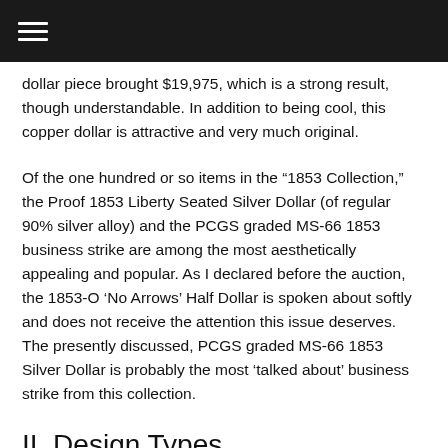☰
dollar piece brought $19,975, which is a strong result, though understandable. In addition to being cool, this copper dollar is attractive and very much original.
Of the one hundred or so items in the “1853 Collection,” the Proof 1853 Liberty Seated Silver Dollar (of regular 90% silver alloy) and the PCGS graded MS-66 1853 business strike are among the most aesthetically appealing and popular. As I declared before the auction, the 1853-O ‘No Arrows’ Half Dollar is spoken about softly and does not receive the attention this issue deserves. The presently discussed, PCGS graded MS-66 1853 Silver Dollar is probably the most ‘talked about’ business strike from this collection.
II. Design Types